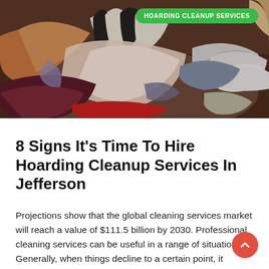[Figure (photo): A large pile of cluttered clothing, shoes, and miscellaneous items stacked chaotically in a room — a hoarding scene.]
8 Signs It's Time To Hire Hoarding Cleanup Services In Jefferson
Projections show that the global cleaning services market will reach a value of $111.5 billion by 2030. Professional cleaning services can be useful in a range of situations. Generally, when things decline to a certain point, it becomes unrealistic to take care of them yourself. Hoarding is a typical example. When hoarding gets out of